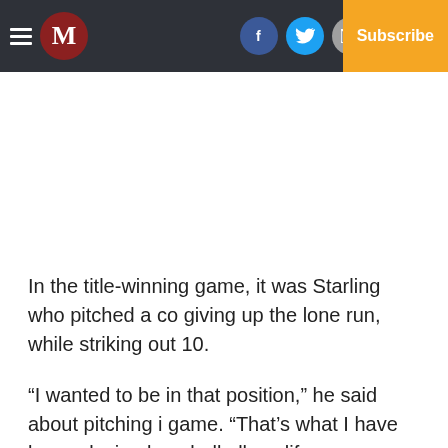M | Log In | Subscribe
In the title-winning game, it was Starling who pitched a co giving up the lone run, while striking out 10.
“I wanted to be in that position,” he said about pitching i game. “That’s what I have been playing baseball all my lif